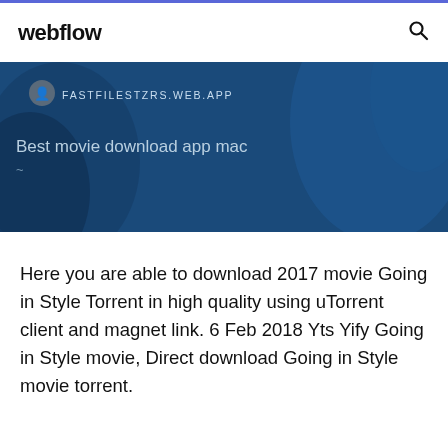webflow
[Figure (screenshot): Blue banner with FASTFILESTZRS.WEB.APP URL and text 'Best movie download app mac']
Here you are able to download 2017 movie Going in Style Torrent in high quality using uTorrent client and magnet link. 6 Feb 2018 Yts Yify Going in Style movie, Direct download Going in Style movie torrent.